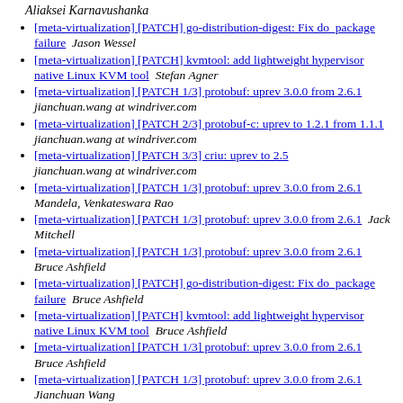Aliaksei Karnавushaнka
[meta-virtualization] [PATCH] go-distribution-digest: Fix do_package failure   Jason Wessel
[meta-virtualization] [PATCH] kvmtool: add lightweight hypervisor native Linux KVM tool   Stefan Agner
[meta-virtualization] [PATCH 1/3] protobuf: uprev 3.0.0 from 2.6.1   jianchuan.wang at windriver.com
[meta-virtualization] [PATCH 2/3] protobuf-c: uprev to 1.2.1 from 1.1.1   jianchuan.wang at windriver.com
[meta-virtualization] [PATCH 3/3] criu: uprev to 2.5   jianchuan.wang at windriver.com
[meta-virtualization] [PATCH 1/3] protobuf: uprev 3.0.0 from 2.6.1   Mandela, Venkateswara Rao
[meta-virtualization] [PATCH 1/3] protobuf: uprev 3.0.0 from 2.6.1   Jack Mitchell
[meta-virtualization] [PATCH 1/3] protobuf: uprev 3.0.0 from 2.6.1   Bruce Ashfield
[meta-virtualization] [PATCH] go-distribution-digest: Fix do_package failure   Bruce Ashfield
[meta-virtualization] [PATCH] kvmtool: add lightweight hypervisor native Linux KVM tool   Bruce Ashfield
[meta-virtualization] [PATCH 1/3] protobuf: uprev 3.0.0 from 2.6.1   Bruce Ashfield
[meta-virtualization] [PATCH 1/3] protobuf: uprev 3.0.0 from 2.6.1   Jianchuan Wang
[meta-virtualization] [PATCH 2/3] ... (truncated)